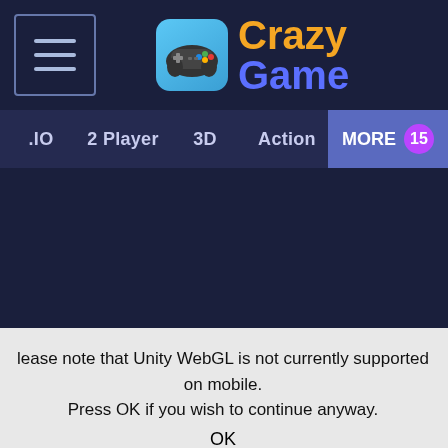[Figure (logo): CrazyGame website header with hamburger menu icon on left, game controller logo icon and 'Crazy Game' text logo in orange and blue]
.IO  2 Player  3D  Action  MORE 15
lease note that Unity WebGL is not currently supported on mobile. Press OK if you wish to continue anyway.
OK
fashion dress up competition